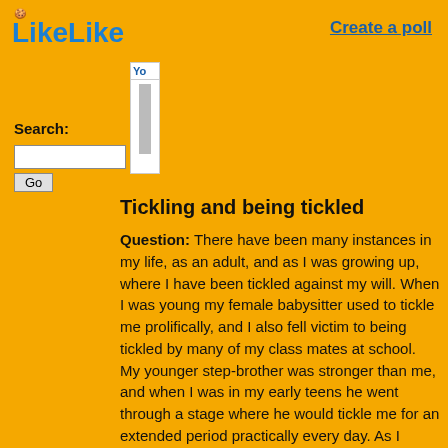LikeLike
Create a poll
Search:
Tickling and being tickled
Question: There have been many instances in my life, as an adult, and as I was growing up, where I have been tickled against my will. When I was young my female babysitter used to tickle me prolifically, and I also fell victim to being tickled by many of my class mates at school. My younger step-brother was stronger than me, and when I was in my early teens he went through a stage where he would tickle me for an extended period practically every day. As I progressed through my teens I began to develop a fetish for being tickled and for doing it myself, and this tickling